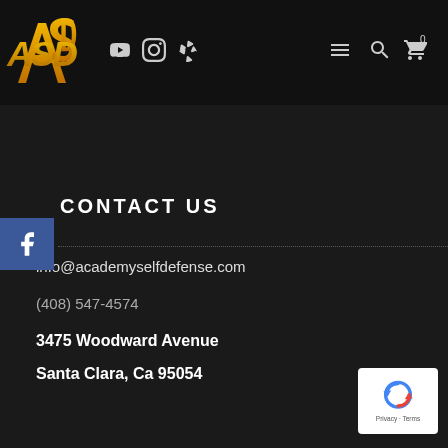[Figure (logo): ASD Academy Self Defense logo in gold/yellow with social media icons (YouTube, Instagram, Yelp) and navigation icons (hamburger menu, search, cart)]
CONTACT US
info@academyselfdefense.com
(408) 547-4574
3475 Woodward Avenue
Santa Clara, Ca 95054
[Figure (logo): Google reCAPTCHA badge with Privacy and Terms links]